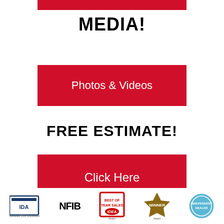[Figure (other): Red horizontal bar at top of page]
MEDIA!
[Figure (other): Red button with white text: Photos & Videos]
FREE ESTIMATE!
[Figure (other): Red button with white text: Click Here]
[Figure (other): Row of organization logos at bottom: IDA, NFIB, IDEA, WINNER badge, and a circular badge]